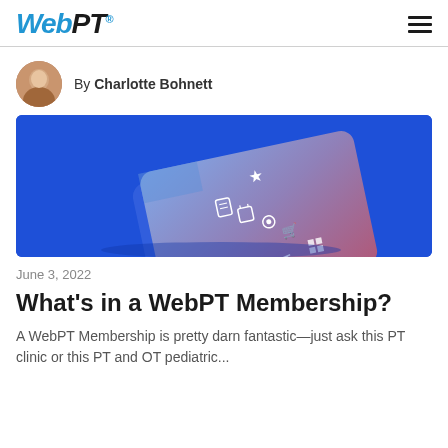WebPT® [hamburger menu]
By Charlotte Bohnett
[Figure (photo): A WebPT membership card rendered in 3D on a bright blue background, showing icons for various features including a star, calendar, and shopping cart.]
June 3, 2022
What's in a WebPT Membership?
A WebPT Membership is pretty darn fantastic—just ask this PT clinic or this PT and OT pediatric...